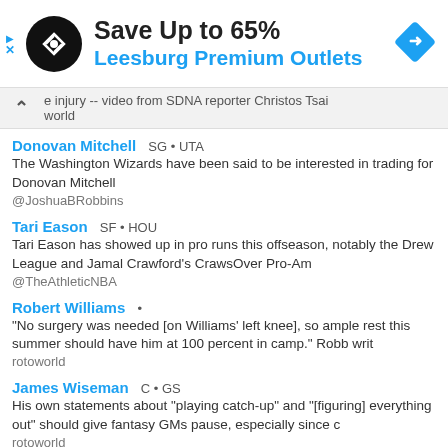[Figure (other): Advertisement banner: Save Up to 65% Leesburg Premium Outlets with black circular logo and blue diamond navigation icon]
e injury -- video from SDNA reporter Christos Tsai
world
Donovan Mitchell SG • UTA
The Washington Wizards have been said to be interested in trading for Donovan Mitchell
@JoshuaBRobbins
Tari Eason SF • HOU
Tari Eason has showed up in pro runs this offseason, notably the Drew League and Jamal Crawford's CrawsOver Pro-Am
@TheAthleticNBA
Robert Williams •
"No surgery was needed [on Williams' left knee], so ample rest this summer should have him at 100 percent in camp." Robb writ
rotoworld
James Wiseman C • GS
His own statements about "playing catch-up" and "[figuring] everything out" should give fantasy GMs pause, especially since c
rotoworld